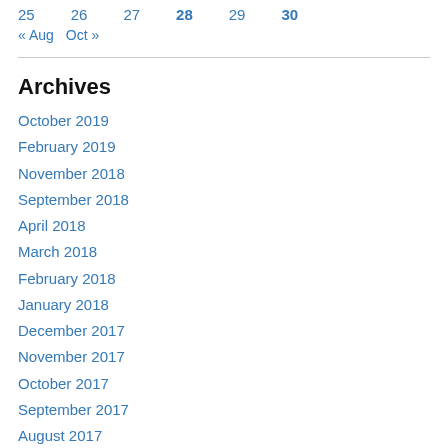25  26  27  28  29  30
« Aug   Oct »
Archives
October 2019
February 2019
November 2018
September 2018
April 2018
March 2018
February 2018
January 2018
December 2017
November 2017
October 2017
September 2017
August 2017
July 2017